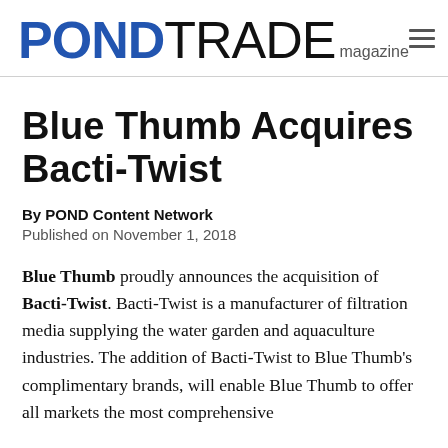PONDTRADE magazine
Blue Thumb Acquires Bacti-Twist
By POND Content Network
Published on November 1, 2018
Blue Thumb proudly announces the acquisition of Bacti-Twist. Bacti-Twist is a manufacturer of filtration media supplying the water garden and aquaculture industries. The addition of Bacti-Twist to Blue Thumb's complimentary brands, will enable Blue Thumb to offer all markets the most comprehensive